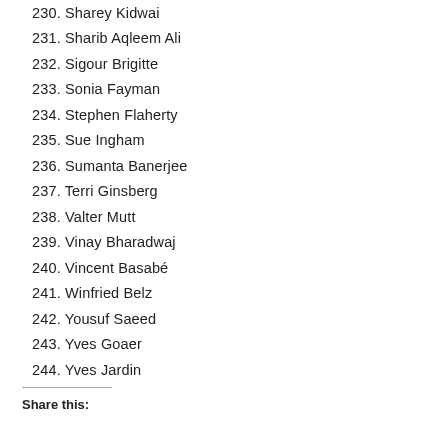230. Sharey Kidwai
231. Sharib Aqleem Ali
232. Sigour Brigitte
233. Sonia Fayman
234. Stephen Flaherty
235. Sue Ingham
236. Sumanta Banerjee
237. Terri Ginsberg
238. Valter Mutt
239. Vinay Bharadwaj
240. Vincent Basabé
241. Winfried Belz
242. Yousuf Saeed
243. Yves Goaer
244. Yves Jardin
Share this: